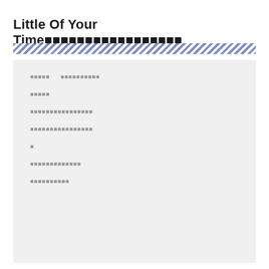Little Of Your Time
■■■■■   ■■■■■■■■■■
■■■■■
■■■■■■■■■■■■■■■■
■■■■■■■■■■■■■■■■
■
■■■■■■■■■■■■■
■■■■■■■■■■